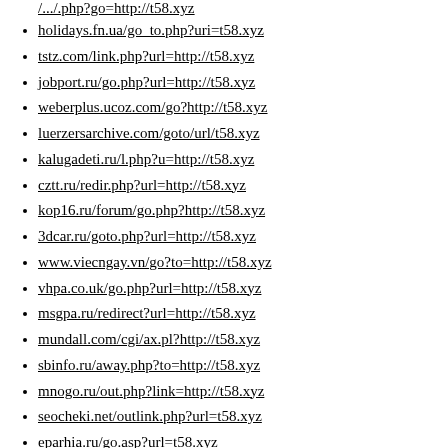holidays.fn.ua/go_to.php?uri=t58.xyz
tstz.com/link.php?url=http://t58.xyz
jobport.ru/go.php?url=http://t58.xyz
weberplus.ucoz.com/go?http://t58.xyz
luerzersarchive.com/goto/url/t58.xyz
kalugadeti.ru/l.php?u=http://t58.xyz
cztt.ru/redir.php?url=http://t58.xyz
kop16.ru/forum/go.php?http://t58.xyz
3dcar.ru/goto.php?url=http://t58.xyz
www.viecngay.vn/go?to=http://t58.xyz
vhpa.co.uk/go.php?url=http://t58.xyz
msgpa.ru/redirect?url=http://t58.xyz
mundall.com/cgi/ax.pl?http://t58.xyz
sbinfo.ru/away.php?to=http://t58.xyz
mnogo.ru/out.php?link=http://t58.xyz
seocheki.net/outlink.php?url=t58.xyz
eparhia.ru/go.asp?url=t58.xyz
elit-apartament.ru/go?http://t58.xyz